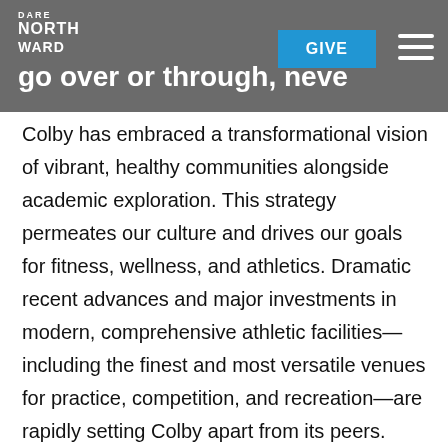DARE NORTH WARD — go over or through, never around
Colby has embraced a transformational vision of vibrant, healthy communities alongside academic exploration. This strategy permeates our culture and drives our goals for fitness, wellness, and athletics. Dramatic recent advances and major investments in modern, comprehensive athletic facilities—including the finest and most versatile venues for practice, competition, and recreation—are rapidly setting Colby apart from its peers. Colby is prioritizing and redefining the highest standard for intercollegiate athletics with its commitment to world-class fitness, wellness, and athletic venues. With further